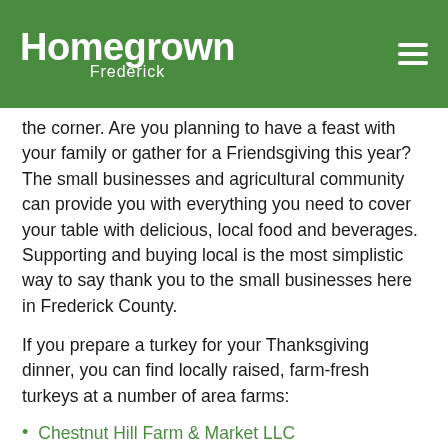Homegrown Frederick
the corner. Are you planning to have a feast with your family or gather for a Friendsgiving this year? The small businesses and agricultural community can provide you with everything you need to cover your table with delicious, local food and beverages. Supporting and buying local is the most simplistic way to say thank you to the small businesses here in Frederick County.
If you prepare a turkey for your Thanksgiving dinner, you can find locally raised, farm-fresh turkeys at a number of area farms:
Chestnut Hill Farm & Market LLC
Good Hope Farmstead
Hillside Turkey Farms
Nicks Organic Farm
Open Book Farm
Rights of Man Farm
South Mountain Creamery
S... (truncated)